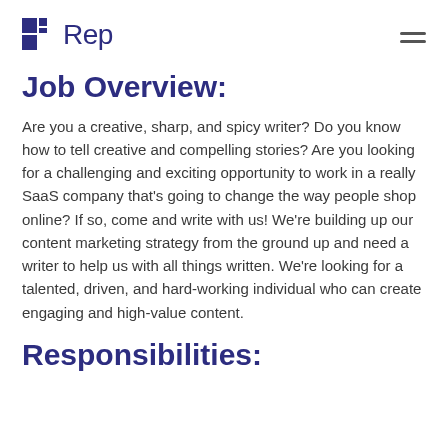Rep
Job Overview:
Are you a creative, sharp, and spicy writer? Do you know how to tell creative and compelling stories? Are you looking for a challenging and exciting opportunity to work in a really SaaS company that's going to change the way people shop online? If so, come and write with us! We're building up our content marketing strategy from the ground up and need a writer to help us with all things written. We're looking for a talented, driven, and hard-working individual who can create engaging and high-value content.
Responsibilities: